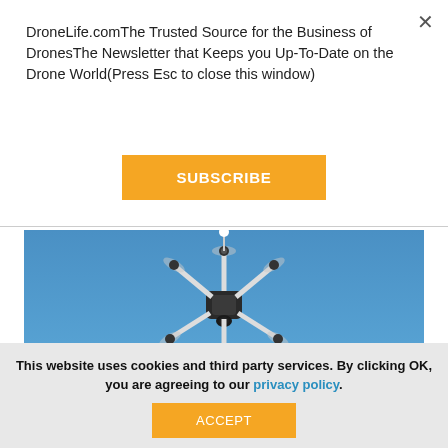DroneLife.comThe Trusted Source for the Business of DronesThe Newsletter that Keeps you Up-To-Date on the Drone World(Press Esc to close this window)
×
SUBSCRIBE
[Figure (photo): A hexacopter drone (white arms, dark body with camera) flying against a blue sky, photographed from below looking up]
This website uses cookies and third party services. By clicking OK, you are agreeing to our privacy policy.
ACCEPT